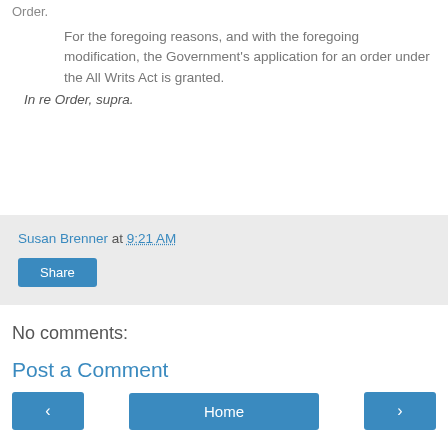Order.
For the foregoing reasons, and with the foregoing modification, the Government's application for an order under the All Writs Act is granted.
In re Order, supra.
Susan Brenner at 9:21 AM
Share
No comments:
Post a Comment
< Home >